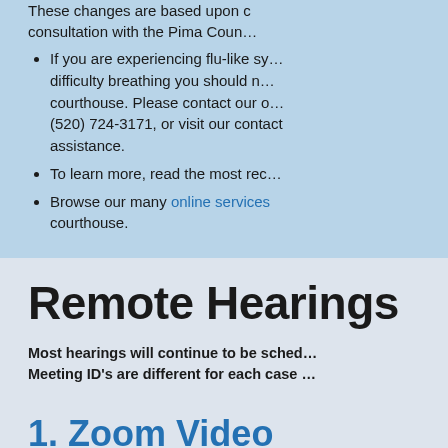These changes are based upon consultation with the Pima Coun…
If you are experiencing flu-like symptoms or difficulty breathing you should not come to the courthouse. Please contact our office at (520) 724-3171, or visit our contact page for assistance.
To learn more, read the most rec…
Browse our many online services … courthouse.
Remote Hearings
Most hearings will continue to be sched… Meeting ID's are different for each case …
1. Zoom Video